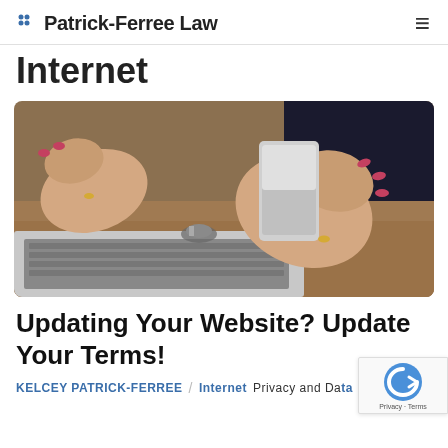Patrick-Ferree Law
Internet
[Figure (photo): Person holding a smartphone while seated at a desk with a laptop and car keys on a wooden surface]
Updating Your Website? Update Your Terms!
KELCEY PATRICK-FERREE / Internet Privacy and Data